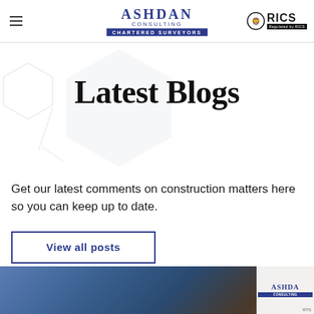Ashdan Consulting — Chartered Surveyors | RICS Regulated by RICS
Latest Blogs
Get our latest comments on construction matters here so you can keep up to date.
View all posts
[Figure (photo): Person wearing blue plaid shirt, hands visible, with Ashdan Consulting branded overlay on the right side]